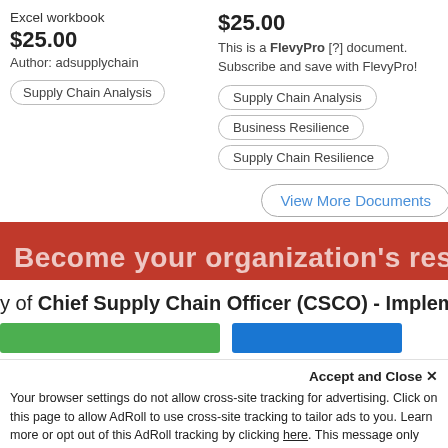Excel workbook
$25.00
Author: adsupplychain
Supply Chain Analysis
$25.00
This is a FlevyPro [?] document. Subscribe and save with FlevyPro!
Supply Chain Analysis
Business Resilience
Supply Chain Resilience
57-slide P
$39.00
Author: Vi
Supply C
Lean Su
View More Documents
Become your organization's resident ex
y of Chief Supply Chain Officer (CSCO) - Implemen
Accept and Close ✕
Your browser settings do not allow cross-site tracking for advertising. Click on this page to allow AdRoll to use cross-site tracking to tailor ads to you. Learn more or opt out of this AdRoll tracking by clicking here. This message only appears once.